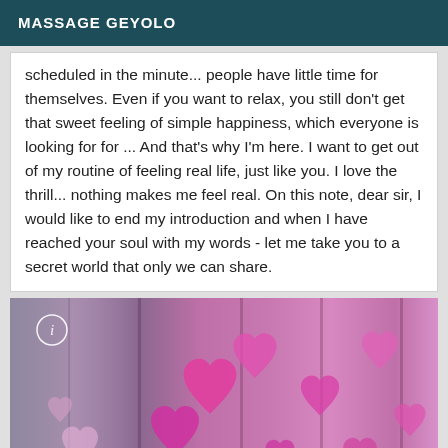MASSAGE GEYOLO
scheduled in the minute... people have little time for themselves. Even if you want to relax, you still don't get that sweet feeling of simple happiness, which everyone is looking for for ... And that's why I'm here. I want to get out of my routine of feeling real life, just like you. I love the thrill... nothing makes me feel real. On this note, dear sir, I would like to end my introduction and when I have reached your soul with my words - let me take you to a secret world that only we can share.
[Figure (photo): Bokeh photo of pink heart shapes on a pink/purple blurred background with curtain-like vertical elements. An info (i) icon is visible in the top-left corner.]